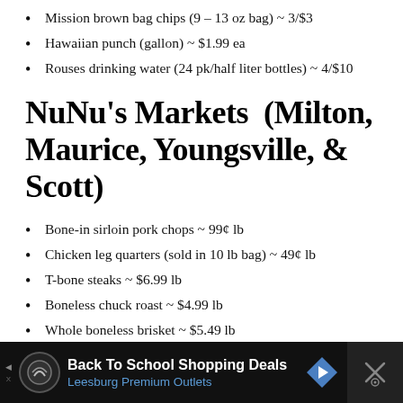Mission brown bag chips (9 – 13 oz bag) ~ 3/$3
Hawaiian punch (gallon) ~ $1.99 ea
Rouses drinking water (24 pk/half liter bottles) ~ 4/$10
NuNu's Markets (Milton, Maurice, Youngsville, & Scott)
Bone-in sirloin pork chops ~ 99¢ lb
Chicken leg quarters (sold in 10 lb bag) ~ 49¢ lb
T-bone steaks ~ $6.99 lb
Boneless chuck roast ~ $4.99 lb
Whole boneless brisket ~ $5.49 lb
John Morrell regular franks (12 oz pack) ~ 99¢ ea
Green cabbage ~ 29¢ lb
Guidry's Creole seasoning (1 lb) ~ 2/$5
Back To School Shopping Deals – Leesburg Premium Outlets